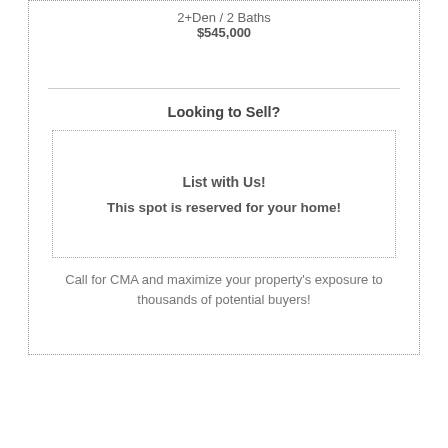2+Den / 2 Baths
$545,000
Looking to Sell?
List with Us!
This spot is reserved for your home!
Call for CMA and maximize your property's exposure to thousands of potential buyers!